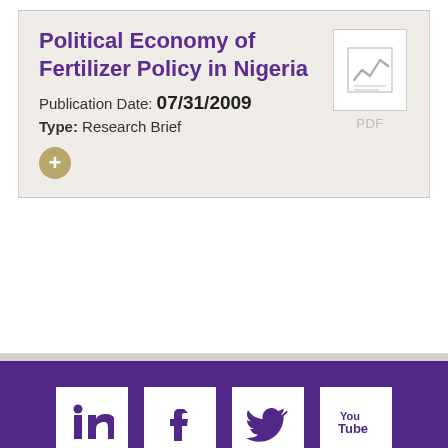Political Economy of Fertilizer Policy in Nigeria
Publication Date: 07/31/2009
Type: Research Brief
[Figure (illustration): PDF document icon with a chart/graph symbol on it, accompanied by a gray 'PDF' label below]
[Figure (illustration): Gold/tan circular plus (+) button]
[Figure (illustration): Social media icons row: LinkedIn, Facebook, Twitter, YouTube — white icons on white boxes set against a purple footer background]
[Figure (logo): University of Washington 'W' logo in white on purple background, with partially visible text below]